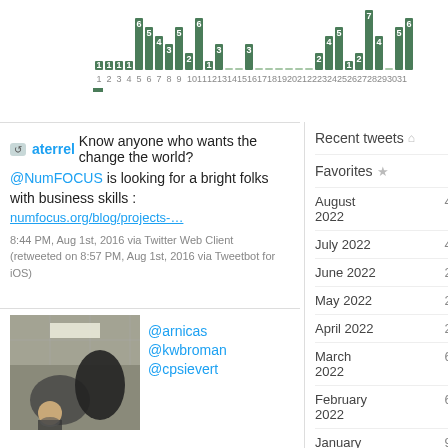[Figure (bar-chart): Bar chart showing daily tweet activity with numbers above bars. Values: 1,1,1,6,5,4,3,5,2,6,1,3,0,0,3,0,0,0,0,0,0,2,4,5,1,2,7,4,0,5,6,1. X-axis: days 1-31.]
aterrel Know anyone who wants the change the world?

@NumFOCUS is looking for a bright folks with business skills :
numfocus.org/blog/projects-…

8:44 PM, Aug 1st, 2016 via Twitter Web Client
(retweeted on 8:57 PM, Aug 1st, 2016 via Tweetbot for iOS)
@arnicas @kwbroman @cpsievert
[Figure (photo): Photo showing people in an office/conference room, taken from a low angle looking up, with ceiling tiles and fluorescent lights. Two men visible.]
Recent tweets
Favorites
August 2022    41
July 2022    49
June 2022    27
May 2022    22
April 2022    26
March 2022    69
February 2022    62
January 2022    97
December